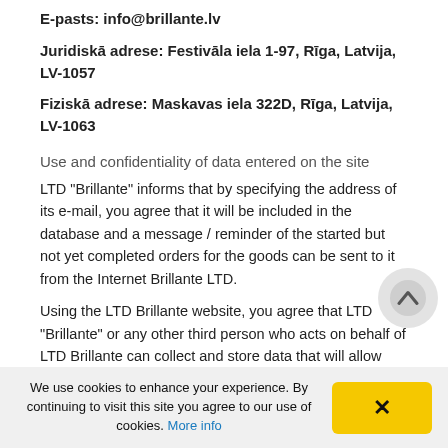E-pasts: info@brillante.lv
Juridiskā adrese: Festivāla iela 1-97, Rīga, Latvija, LV-1057
Fiziskā adrese: Maskavas iela 322D, Rīga, Latvija, LV-1063
Use and confidentiality of data entered on the site
LTD "Brillante" informs that by specifying the address of its e-mail, you agree that it will be included in the database and a message / reminder of the started but not yet completed orders for the goods can be sent to it from the Internet Brillante LTD.
Using the LTD Brillante website, you agree that LTD "Brillante" or any other third person who acts on behalf of LTD Brillante can collect and store data that will allow
We use cookies to enhance your experience. By continuing to visit this site you agree to our use of cookies. More info